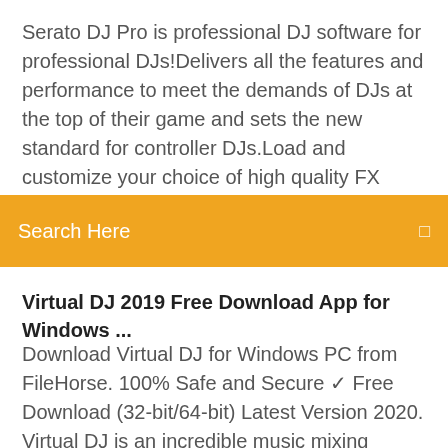Serato DJ Pro is professional DJ software for professional DJs!Delivers all the features and performance to meet the demands of DJs at the top of their game and sets the new standard for controller DJs.Load and customize your choice of high quality FX powered by iZotope including: Delay, Echo, Ping
Search Here
Virtual DJ 2019 Free Download App for Windows ...
Download Virtual DJ for Windows PC from FileHorse. 100% Safe and Secure ✓ Free Download (32-bit/64-bit) Latest Version 2020. Virtual DJ is an incredible music mixing software that has created a buzz in the software market Its classic two deck console gives it the traditional DJ look and  Apr 10, 2020 Atomix Productions' Virtual DJ Free not only mixes and mashes Free Atomix Productions Windows 7/8/10/8.1 Version 8.4.5630 Full Specs  Jun 27, 2019 VirtualDJ by Atomix allows you to mix